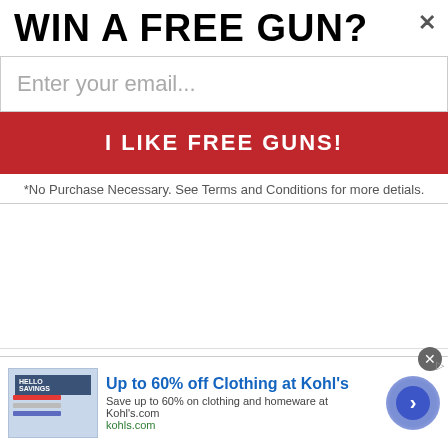WIN A FREE GUN?
Enter your email...
I LIKE FREE GUNS!
*No Purchase Necessary. See Terms and Conditions for more detials.
Aug 29, 2008
#6
HK4U said:
This might be a good pick. will not hurt to have a woman on the ticket although not sure how many of the voters that would vote for Hillery would vote Republican just because she is the running mate. She does not sound like a womens lib, pro death, i.e. abortionist that most of them would favor.
[Figure (screenshot): Advertisement banner for Kohl's clothing sale: 'Up to 60% off Clothing at Kohl's', with store image, text 'Save up to 60% on clothing and homeware at Kohl's.com', 'kohls.com', and a circular arrow button.]